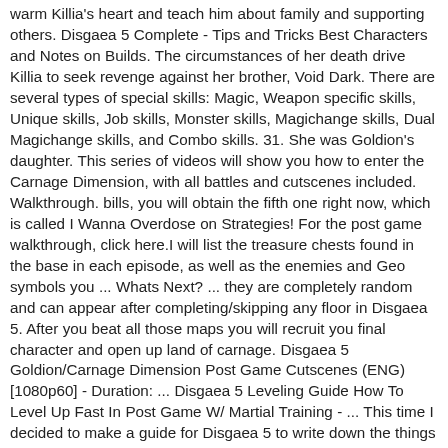warm Killia's heart and teach him about family and supporting others. Disgaea 5 Complete - Tips and Tricks Best Characters and Notes on Builds. The circumstances of her death drive Killia to seek revenge against her brother, Void Dark. There are several types of special skills: Magic, Weapon specific skills, Unique skills, Job skills, Monster skills, Magichange skills, Dual Magichange skills, and Combo skills. 31. She was Goldion's daughter. This series of videos will show you how to enter the Carnage Dimension, with all battles and cutscenes included. Walkthrough. bills, you will obtain the fifth one right now, which is called I Wanna Overdose on Strategies! For the post game walkthrough, click here.I will list the treasure chests found in the base in each episode, as well as the enemies and Geo symbols you ... Whats Next? ... they are completely random and can appear after completing/skipping any floor in Disgaea 5. After you beat all those maps you will recruit you final character and open up land of carnage. Disgaea 5 Goldion/Carnage Dimension Post Game Cutscenes (ENG) [1080p60] - Duration: ... Disgaea 5 Leveling Guide How To Level Up Fast In Post Game W/ Martial Training - ... This time I decided to make a guide for Disgaea 5 to write down the things I wished I knew earlier and generally how to get those achievements, especially the 10,000 Million Damage one. Carnage Quest Line (8) 34. This will then skills on the two panels of Disgaea 5...